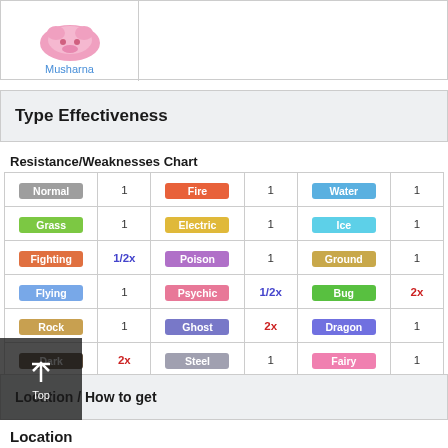[Figure (illustration): Musharna Pokemon sprite (pink blob shape) with label link below]
Musharna
Type Effectiveness
Resistance/Weaknesses Chart
| Type | Value | Type | Value | Type | Value |
| --- | --- | --- | --- | --- | --- |
| Normal | 1 | Fire | 1 | Water | 1 |
| Grass | 1 | Electric | 1 | Ice | 1 |
| Fighting | 1/2x | Poison | 1 | Ground | 1 |
| Flying | 1 | Psychic | 1/2x | Bug | 2x |
| Rock | 1 | Ghost | 2x | Dragon | 1 |
| Dark | 2x | Steel | 1 | Fairy | 1 |
Location / How to get
Location